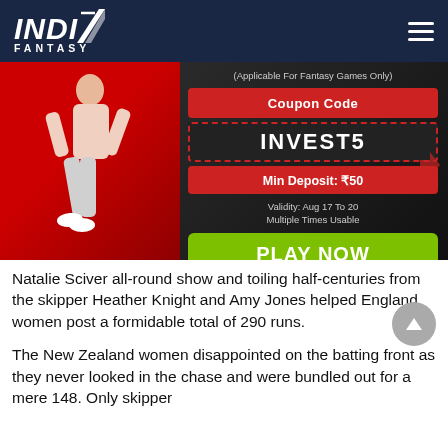INDIA FANTASY
[Figure (infographic): India Fantasy promotional banner showing a person running on a red carpet, with coupon code INVEST5, Min Deposit ₹50, Validity Aug 17 To 20, Multiple Times Usable, and a green PLAY NOW button. Text: (Applicable For Fantasy Games Only)]
Natalie Sciver all-round show and toiling half-centuries from the skipper Heather Knight and Amy Jones helped England women post a formidable total of 290 runs.
The New Zealand women disappointed on the batting front as they never looked in the chase and were bundled out for a mere 148. Only skipper